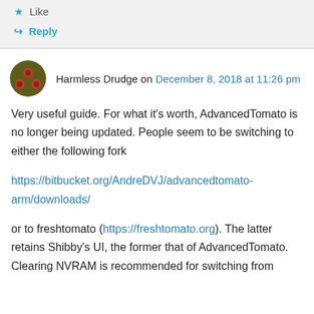★ Like
↳ Reply
Harmless Drudge on December 8, 2018 at 11:26 pm
Very useful guide. For what it's worth, AdvancedTomato is no longer being updated. People seem to be switching to either the following fork
https://bitbucket.org/AndreDVJ/advancedtomato-arm/downloads/
or to freshtomato (https://freshtomato.org). The latter retains Shibby's UI, the former that of AdvancedTomato. Clearing NVRAM is recommended for switching from